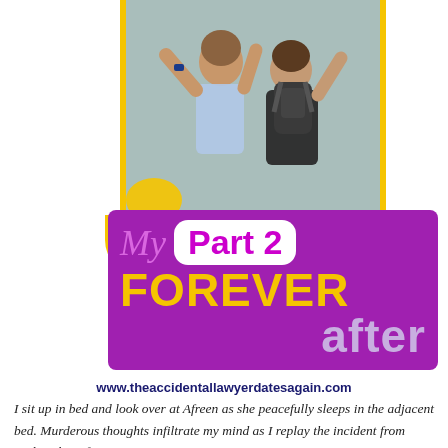[Figure (photo): Two people from behind with arms raised, one wearing a backpack, with a yellow vertical line decoration on the left side and right side of the image]
My Forever after Part 2
www.theaccidentallawyerdatesagain.com
I sit up in bed and look over at Afreen as she peacefully sleeps in the adjacent bed. Murderous thoughts infiltrate my mind as I replay the incident from earlier that afternoon...